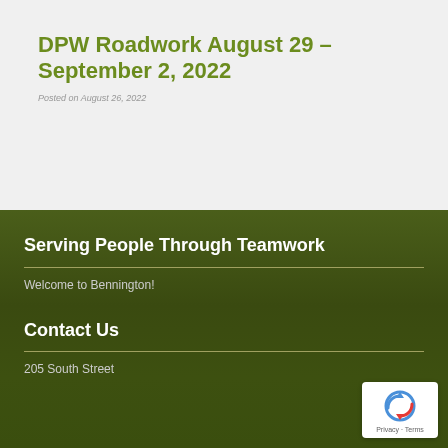DPW Roadwork August 29 – September 2, 2022
Posted on August 26, 2022
Serving People Through Teamwork
Welcome to Bennington!
Contact Us
205 South Street
[Figure (logo): reCAPTCHA badge with circular arrow icon and Privacy - Terms text]